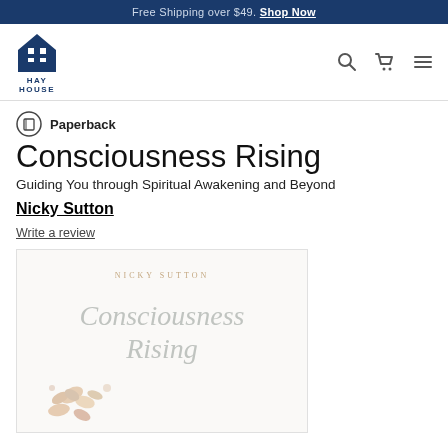Free Shipping over $49. Shop Now
[Figure (logo): Hay House publisher logo — blue house shape with H cutout, text HAY HOUSE below]
Paperback
Consciousness Rising
Guiding You through Spiritual Awakening and Beyond
Nicky Sutton
Write a review
[Figure (photo): Book cover for Consciousness Rising by Nicky Sutton — white/cream background with author name in gold caps at top, title in large grey italic script, decorative butterflies and floral elements in muted gold and grey tones]